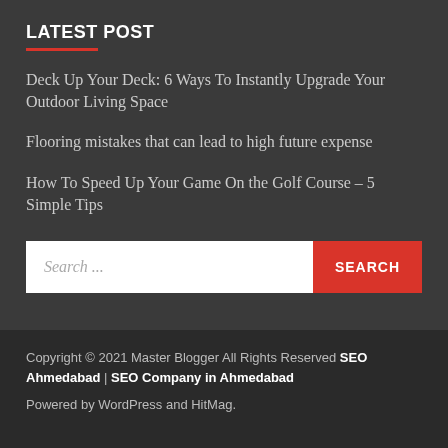LATEST POST
Deck Up Your Deck: 6 Ways To Instantly Upgrade Your Outdoor Living Space
Flooring mistakes that can lead to high future expense
How To Speed Up Your Game On the Golf Course – 5 Simple Tips
Search ...
Copyright © 2021 Master Blogger All Rights Reserved SEO Ahmedabad | SEO Company in Ahmedabad
Powered by WordPress and HitMag.